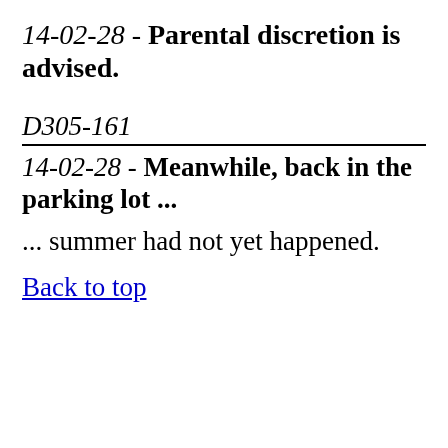14-02-28 - Parental discretion is advised.
D305-161
14-02-28 - Meanwhile, back in the parking lot ... ... summer had not yet happened.
Back to top